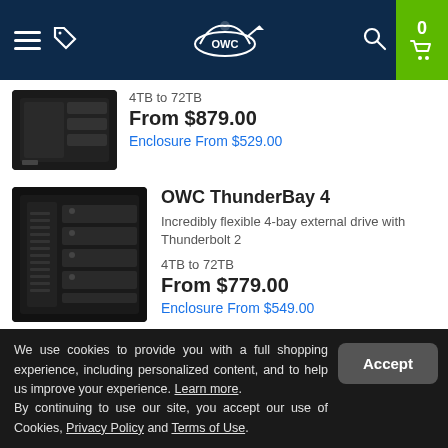OWC navigation bar with hamburger menu, tag icon, OWC logo, search icon, and cart (0)
[Figure (photo): Partial product image of OWC external drive enclosure (top cropped)]
4TB to 72TB
From $879.00
Enclosure From $529.00
[Figure (photo): OWC ThunderBay 4 external drive enclosure product image]
OWC ThunderBay 4
Incredibly flexible 4-bay external drive with Thunderbolt 2
4TB to 72TB
From $779.00
Enclosure From $549.00
We use cookies to provide you with a full shopping experience, including personalized content, and to help us improve your experience. Learn more. By continuing to use our site, you accept our use of Cookies, Privacy Policy and Terms of Use.